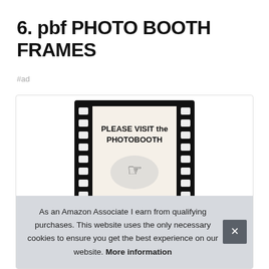6. pbf PHOTO BOOTH FRAMES
#ad
[Figure (photo): A photo booth frame designed to look like a film strip, with text reading 'PLEASE VISIT the PHOTOBOOTH' and an illustration of a pointing hand, and 'LADIES & GENTS' at the bottom.]
As an Amazon Associate I earn from qualifying purchases. This website uses the only necessary cookies to ensure you get the best experience on our website. More information